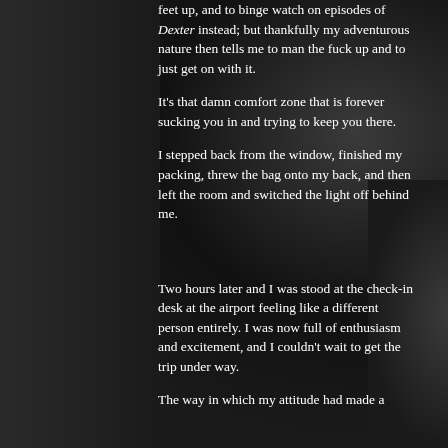feet up, and to binge watch on episodes of Dexter instead; but thankfully my adventurous nature then tells me to man the fuck up and to just get on with it.
It's that damn comfort zone that is forever sucking you in and trying to keep you there.
I stepped back from the window, finished my packing, threw the bag onto my back, and then left the room and switched the light off behind me.
Two hours later and I was stood at the check-in desk at the airport feeling like a different person entirely. I was now full of enthusiasm and excitement, and I couldn't wait to get the trip under way.
The way in which my attitude had made a